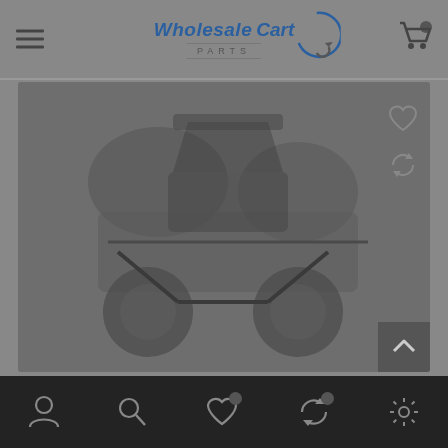[Figure (screenshot): Wholesale Cart Parts website header with hamburger menu, logo, and cart icon]
[Figure (photo): Product image showing golf cart parts or accessories, dark/greyed overlay]
[Figure (screenshot): Bottom navigation bar with account, search, wishlist, compare, and settings icons]